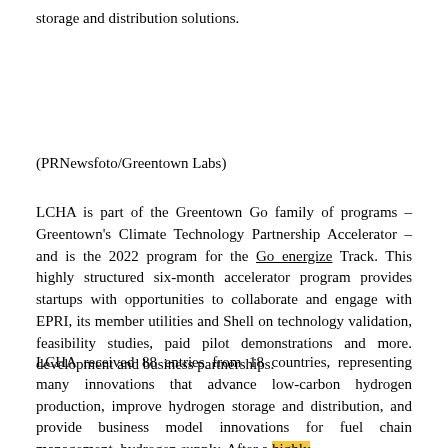storage and distribution solutions.
(PRNewsfoto/Greentown Labs)
LCHA is part of the Greentown Go family of programs – Greentown's Climate Technology Partnership Accelerator – and is the 2022 program for the Go energize Track. This highly structured six-month accelerator program provides startups with opportunities to collaborate and engage with EPRI, its member utilities and Shell on technology validation, feasibility studies, paid pilot demonstrations and more. development and business partnerships.
LCHA received 88 entries from 18 countries, representing many innovations that advance low-carbon hydrogen production, improve hydrogen storage and distribution, and provide business model innovations for fuel chain management, hydrogen supply. After a highly